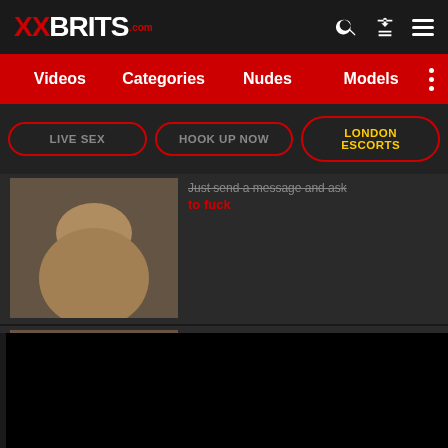XXBRITS.com
Videos  Categories  Nudes  Models
LIVE SEX  HOOK UP NOW  LONDON ESCORTS
Just send a message and ask to fuck
[Figure (photo): Thumbnail of blonde woman]
❤ Single mom from Ashburn is looking for sex
Find horny women from your
[Figure (photo): Thumbnail of second ad image]